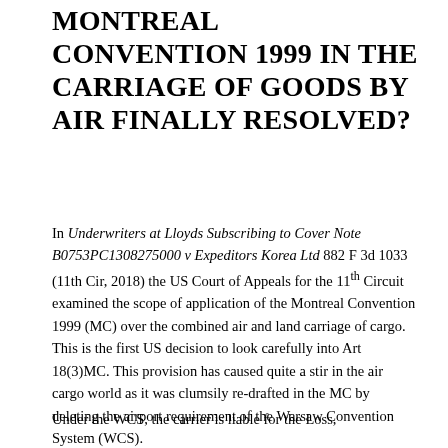MONTREAL CONVENTION 1999 IN THE CARRIAGE OF GOODS BY AIR FINALLY RESOLVED?
In Underwriters at Lloyds Subscribing to Cover Note B0753PC1308275000 v Expeditors Korea Ltd 882 F 3d 1033 (11th Cir, 2018) the US Court of Appeals for the 11th Circuit examined the scope of application of the Montreal Convention 1999 (MC) over the combined air and land carriage of cargo. This is the first US decision to look carefully into Art 18(3)MC. This provision has caused quite a stir in the air cargo world as it was clumsily re-drafted in the MC by deleting the airport requirement of the Warsaw Convention System (WCS).
Under the WCS, the carrier is liable for the Loss,